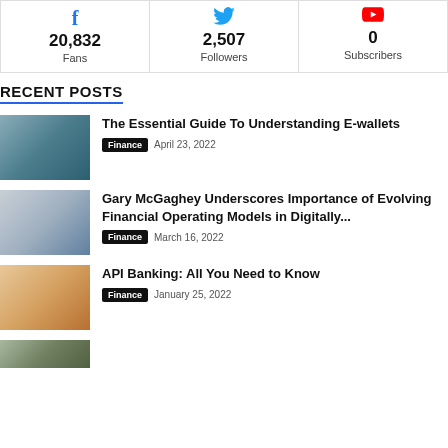[Figure (infographic): Social media stats bar with Facebook (20,832 Fans), Twitter (2,507 Followers), YouTube (0 Subscribers)]
RECENT POSTS
[Figure (photo): Person handing a credit card at a coffee shop table with a blue coffee cup]
The Essential Guide To Understanding E-wallets
Finance   April 23, 2022
[Figure (photo): Business team meeting in a bright office]
Gary McGaghey Underscores Importance of Evolving Financial Operating Models in Digitally...
Finance   March 16, 2022
[Figure (photo): Person using a tablet/phone at a desk with warm lighting]
API Banking: All You Need to Know
Finance   January 25, 2022
[Figure (photo): Partially visible image at bottom of page]